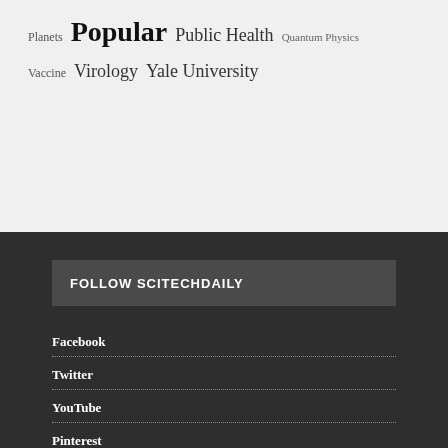Planets Popular Public Health Quantum Physics Vaccine Virology Yale University
FOLLOW SCITECHDAILY
Facebook
Twitter
YouTube
Pinterest
Newsletter